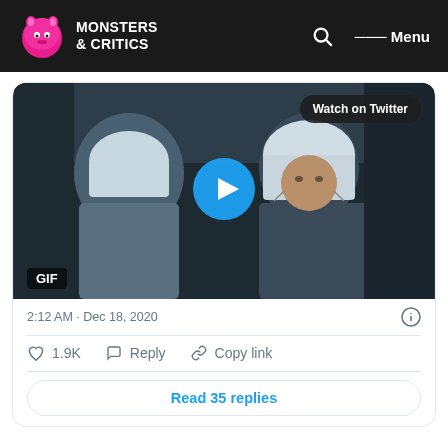Monsters & Critics
[Figure (screenshot): Embedded Twitter GIF/video card showing two people in surgical scrubs and head coverings, with a play button overlay and 'Watch on Twitter' badge. Bottom left shows 'GIF' label.]
2:12 AM · Dec 18, 2020
♡ 1.9K   Reply   Copy link
Read 35 replies
Is Meredith Grey going to die on Grey's Anatomy?